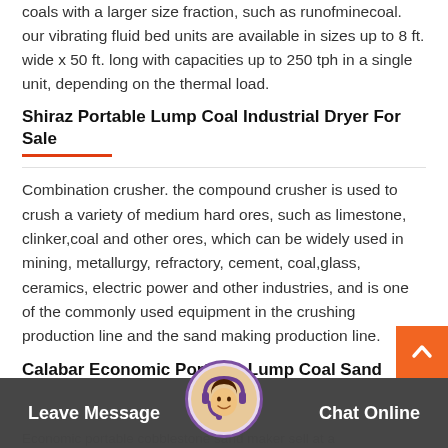coals with a larger size fraction, such as runofminecoal. our vibrating fluid bed units are available in sizes up to 8 ft. wide x 50 ft. long with capacities up to 250 tph in a single unit, depending on the thermal load.
Shiraz Portable Lump Coal Industrial Dryer For Sale
Combination crusher. the compound crusher is used to crush a variety of medium hard ores, such as limestone, clinker,coal and other ores, which can be widely used in mining, metallurgy, refractory, cement, coal,glass, ceramics, electric power and other industries, and is one of the commonly used equipment in the crushing production line and the sand making production line.
Calabar Economic Portable Lump Coal Sand Washer At A
Economic portable cobblestone sand maker sell at a